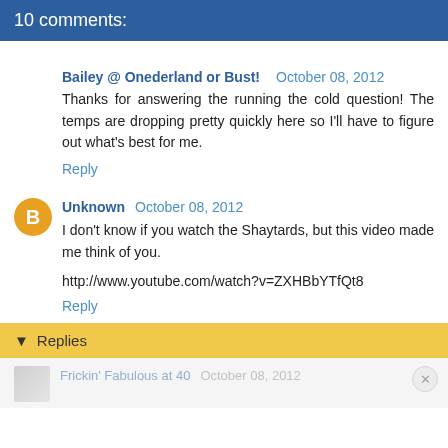10 comments:
Bailey @ Onederland or Bust!  October 08, 2012
Thanks for answering the running the cold question! The temps are dropping pretty quickly here so I'll have to figure out what's best for me.
Reply
Unknown  October 08, 2012
I don't know if you watch the Shaytards, but this video made me think of you.
http://www.youtube.com/watch?v=ZXHBbYTfQt8
Reply
▾  Replies
Frickin' Fabulous at 40  October 08, 2012